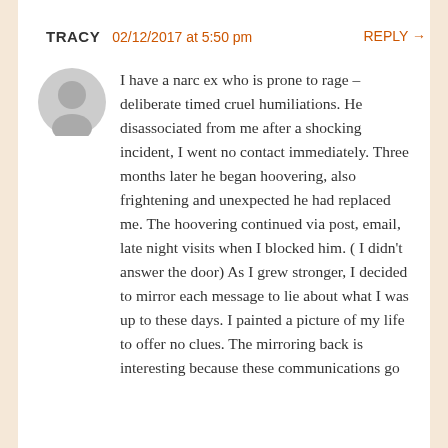TRACY   02/12/2017 at 5:50 pm   REPLY →
I have a narc ex who is prone to rage – deliberate timed cruel humiliations. He disassociated from me after a shocking incident, I went no contact immediately. Three months later he began hoovering, also frightening and unexpected he had replaced me. The hoovering continued via post, email, late night visits when I blocked him. ( I didn't answer the door) As I grew stronger, I decided to mirror each message to lie about what I was up to these days. I painted a picture of my life to offer no clues. The mirroring back is interesting because these communications go